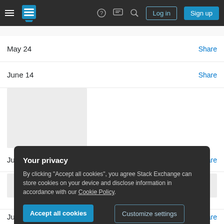Stack Exchange navigation bar with Log in and Sign up buttons
May 24
Share
June 14
Share
[Figure (photo): Gray placeholder image block]
June 16
Share
[Figure (photo): Row of gray placeholder image blocks]
Your privacy
By clicking "Accept all cookies", you agree Stack Exchange can store cookies on your device and disclose information in accordance with our Cookie Policy.
Accept all cookies
Customize settings
July 20
Share